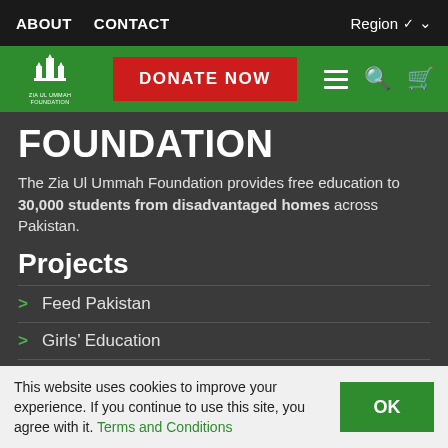ABOUT   CONTACT   Region
[Figure (logo): Zia Ul Ummah Foundation logo — white Arabic-style building icon on green background with text ZIA UL UMMAH FOUNDATION]
FOUNDATION
The Zia Ul Ummah Foundation provides free education to 30,000 students from disadvantaged homes across Pakistan.
Projects
Feed Pakistan
Girls' Education
Girls College Rebuild
Hifz Students
This website uses cookies to improve your experience. If you continue to use this site, you agree with it. Terms and Conditions